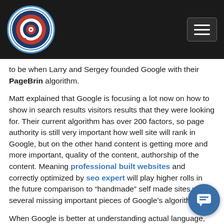SEO Expert Danny logo and navigation
to be when Larry and Sergey founded Google with their PageBrin algorithm.
Matt explained that Google is focusing a lot now on how to show in search results visitors results that they were looking for. Their current algorithm has over 200 factors, so page authority is still very important how well site will rank in Google, but on the other hand content is getting more and more important, quality of the content, authorship of the content. Meaning professional built websites and correctly optimized by seo expert will play higher rolls in the future comparison to “handmade” self made sites with several missing important pieces of Google’s algorithm pie.
When Google is better at understanding actual language, natural language, which you see with their conversational search efforts. Google will be better to understand expert user’s queries and match them better to a better answer.
Matt Cutts added that for the “next few years” links aren’t g… anyway and will still be used for determining reputation. But … continues Google will also little bit less reliant of re…